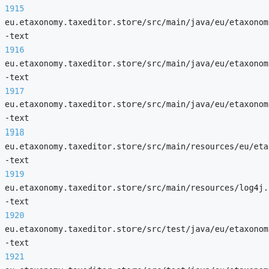1915
eu.etaxonomy.taxeditor.store/src/main/java/eu/etaxonomy/
-text
1916
eu.etaxonomy.taxeditor.store/src/main/java/eu/etaxonomy/
-text
1917
eu.etaxonomy.taxeditor.store/src/main/java/eu/etaxonomy/
-text
1918
eu.etaxonomy.taxeditor.store/src/main/resources/eu/etaxo
-text
1919
eu.etaxonomy.taxeditor.store/src/main/resources/log4j.pr
-text
1920
eu.etaxonomy.taxeditor.store/src/test/java/eu/etaxonomy/
-text
1921
eu.etaxonomy.taxeditor.store/src/test/java/eu/etaxonomy/
-text
1922
eu.etaxonomy.taxeditor.store/src/test/resources/eu/etaxo
test.xml -text
1923